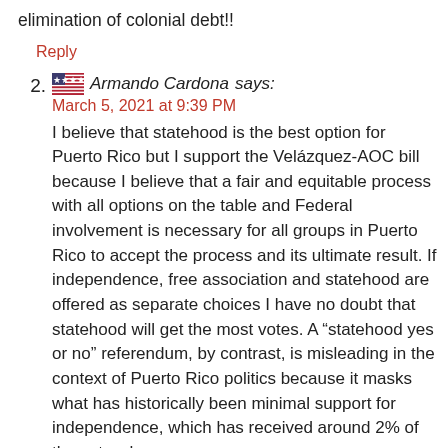elimination of colonial debt!!
Reply
2. Armando Cardona says:
March 5, 2021 at 9:39 PM
I believe that statehood is the best option for Puerto Rico but I support the Velázquez-AOC bill because I believe that a fair and equitable process with all options on the table and Federal involvement is necessary for all groups in Puerto Rico to accept the process and its ultimate result. If independence, free association and statehood are offered as separate choices I have no doubt that statehood will get the most votes. A “statehood yes or no” referendum, by contrast, is misleading in the context of Puerto Rico politics because it masks what has historically been minimal support for independence, which has received around 2% of the vote whenever